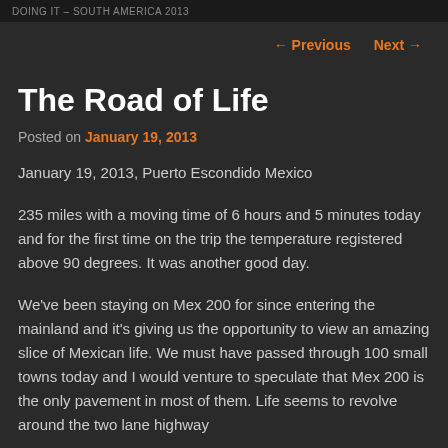DOING IT – SOUTH AMERICA 2013
← Previous   Next →
The Road of Life
Posted on January 19, 2013
January 19, 2013, Puerto Escondido Mexico
235 miles with a moving time of 6 hours and 5 minutes today and for the first time on the trip the temperature registered above 90 degrees. It was another good day.
We've been staying on Mex 200 for since entering the mainland and it's giving us the opportunity to view an amazing slice of Mexican life. We must have passed through 100 small towns today and I would venture to speculate that Mex 200 is the only pavement in most of them. Life seems to revolve around the two lane highway